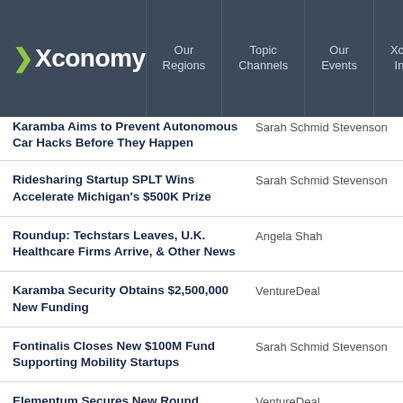Xconomy | Our Regions | Topic Channels | Our Events | Xconomy Insight
Karamba Aims to Prevent Autonomous Car Hacks Before They Happen | Sarah Schmid Stevenson
Ridesharing Startup SPLT Wins Accelerate Michigan's $500K Prize | Sarah Schmid Stevenson
Roundup: Techstars Leaves, U.K. Healthcare Firms Arrive, & Other News | Angela Shah
Karamba Security Obtains $2,500,000 New Funding | VentureDeal
Fontinalis Closes New $100M Fund Supporting Mobility Startups | Sarah Schmid Stevenson
Elementum Secures New Round | VentureDeal
NuTonomy, Optimus Lead Pack of Self-Driving Vehicle Startups | Gregory T. Huang
nuTonomy Secures $16,000,000 Series A Financing Round | VentureDeal